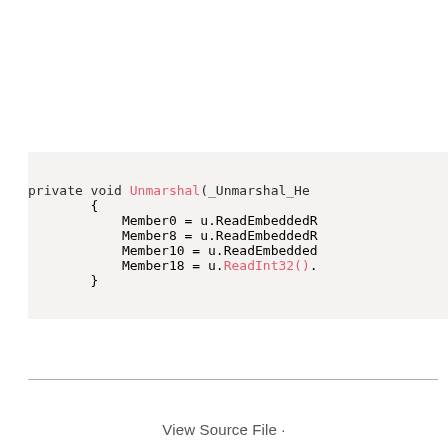[Figure (screenshot): Code block showing a C# private void Unmarshal method with member assignments using ReadEmbedded and ReadInt32 calls, displayed on a light pinkish-gray background.]
View Source File ·